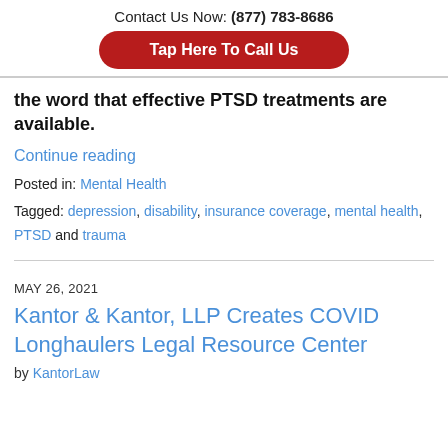Contact Us Now: (877) 783-8686
Tap Here To Call Us
the word that effective PTSD treatments are available.
Continue reading
Posted in: Mental Health
Tagged: depression, disability, insurance coverage, mental health, PTSD and trauma
MAY 26, 2021
Kantor & Kantor, LLP Creates COVID Longhaulers Legal Resource Center
by KantorLaw